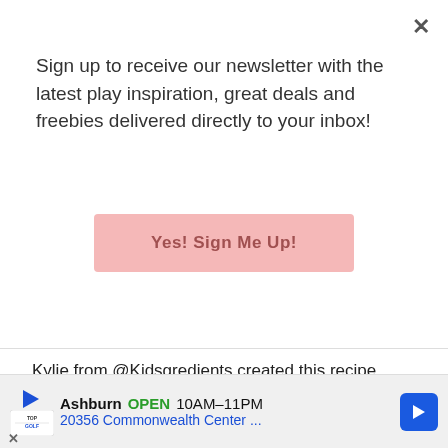Sign up to receive our newsletter with the latest play inspiration, great deals and freebies delivered directly to your inbox!
[Figure (other): Pink 'Yes! Sign Me Up!' button for newsletter signup]
Kylie from @Kidsgredients created this recipe.
With a few funky looking bananas sitting in our fruit bowl, using them up was a must when Miss 6 asked to do some baking this morning.
This recipe is sugar-free, fibre-filled and so easy that Miss 6 was able to follow the steps with very little interaction on my behalf (while still being
[Figure (other): Advertisement banner for TopGolf Ashburn showing OPEN 10AM-11PM, 20356 Commonwealth Center...]